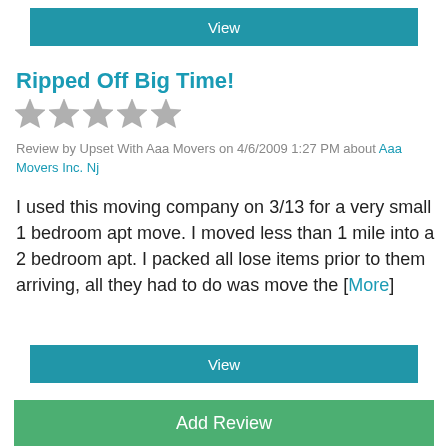View
Ripped Off Big Time!
[Figure (other): 5 empty/grey star rating icons indicating 0 out of 5 stars]
Review by Upset With Aaa Movers on 4/6/2009 1:27 PM about Aaa Movers Inc. Nj
I used this moving company on 3/13 for a very small 1 bedroom apt move. I moved less than 1 mile into a 2 bedroom apt. I packed all lose items prior to them arriving, all they had to do was move the [More]
View
Add Review